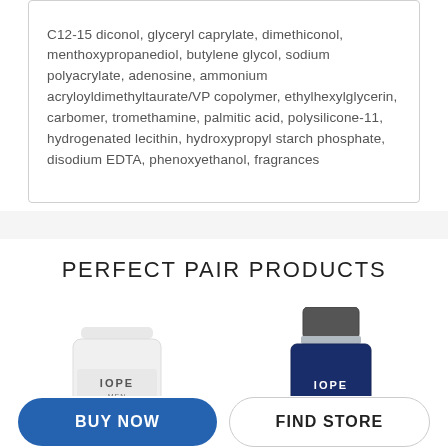C12-15 diconol, glyceryl caprylate, dimethiconol, menthoxypropanediol, butylene glycol, sodium polyacrylate, adenosine, ammonium acryloyldimethyltaurate/VP copolymer, ethylhexylglycerin, carbomer, tromethamine, palmitic acid, polysilicone-11, hydrogenated lecithin, hydroxypropyl starch phosphate, disodium EDTA, phenoxyethanol, fragrances
PERFECT PAIR PRODUCTS
[Figure (illustration): IOPE MEN white tube product]
[Figure (illustration): IOPE MEN dark blue bottle with silver cap product]
BUY NOW
FIND STORE